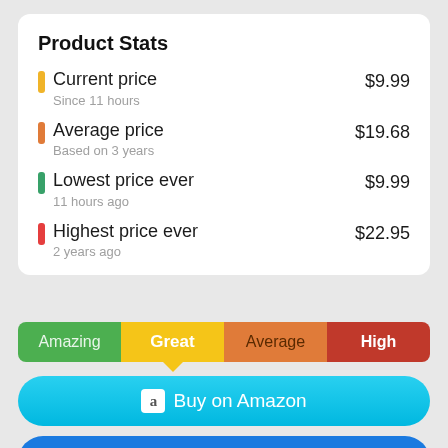Product Stats
| Stat | Value | Detail |
| --- | --- | --- |
| Current price | $9.99 | Since 11 hours |
| Average price | $19.68 | Based on 3 years |
| Lowest price ever | $9.99 | 11 hours ago |
| Highest price ever | $22.95 | 2 years ago |
[Figure (infographic): Rating bar with four segments: Amazing (green), Great (yellow, selected with triangle pointer), Average (orange), High (red)]
[Figure (infographic): Buy on Amazon button (cyan gradient)]
[Figure (infographic): Start Watching button (blue)]